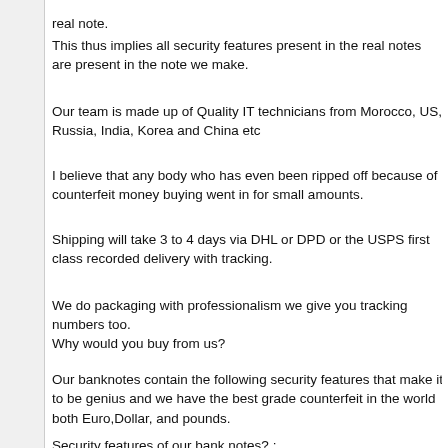real note.
This thus implies all security features present in the real notes are present in the note we make.
Our team is made up of Quality IT technicians from Morocco, US, Russia, India, Korea and China etc
I believe that any body who has even been ripped off because of counterfeit money buying went in for small amounts.
Shipping will take 3 to 4 days via DHL or DPD or the USPS first class recorded delivery with tracking.
We do packaging with professionalism we give you tracking numbers too.
Why would you buy from us?
Our banknotes contain the following security features that make it to be genius and we have the best grade counterfeit in the world both Euro,Dollar, and pounds.
Security features of our bank notes? :